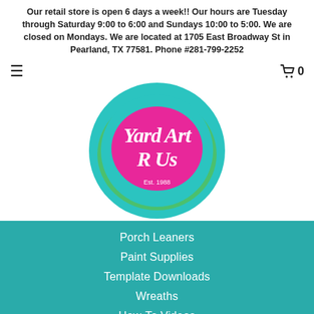Our retail store is open 6 days a week!! Our hours are Tuesday through Saturday 9:00 to 6:00 and Sundays 10:00 to 5:00. We are closed on Mondays. We are located at 1705 East Broadway St in Pearland, TX 77581. Phone #281-799-2252
[Figure (logo): Yard Art R Us circular logo with teal/green background, pink magenta center, white script text 'Yard Art R Us' and 'Est. 1988']
Porch Leaners
Paint Supplies
Template Downloads
Wreaths
How-To Videos
In Person Paint Parties